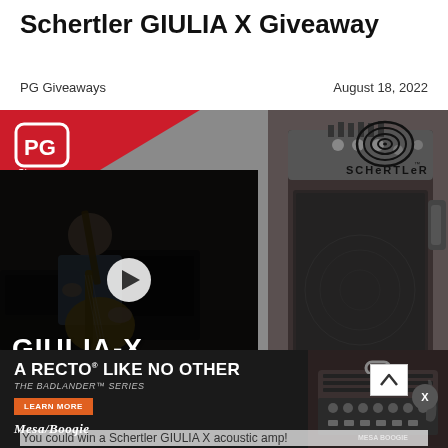Schertler GIULIA X Giveaway
PG Giveaways
August 18, 2022
[Figure (screenshot): Composite image showing PG Giveaways and Schertler logos at top, a video thumbnail of a guitarist playing electric guitar overlaid on a dark background (left side), and a Schertler GIULIA-X acoustic amplifier product shot (right side). Text 'GIULIA-X' and 'ACOU...' appears at the bottom left of the image.]
[Figure (infographic): Advertisement banner for Mesa/Boogie Badlander Series amplifier. Dark background with text 'A RECTO LIKE NO OTHER / THE BADLANDER SERIES', orange 'LEARN MORE' button, Mesa/Boogie logo, and image of amplifier head unit.]
You could win a Schertler GIULIA X acoustic amp!